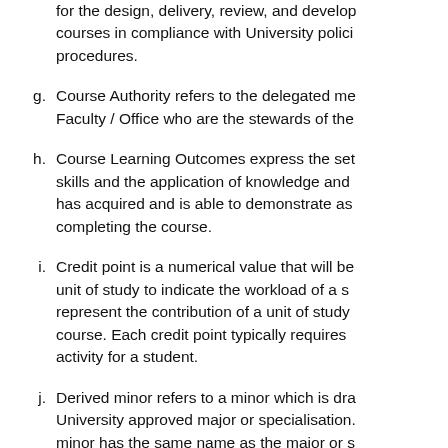(continuation) for the design, delivery, review, and development of courses in compliance with University policies and procedures.
g. Course Authority refers to the delegated member of Faculty / Office who are the stewards of the...
h. Course Learning Outcomes express the set of skills and the application of knowledge and has acquired and is able to demonstrate as completing the course.
i. Credit point is a numerical value that will be assigned to each unit of study to indicate the workload of a student and represent the contribution of a unit of study to a course. Each credit point typically requires 1 hour of activity for a student.
j. Derived minor refers to a minor which is drawn from a University approved major or specialisation. A derived minor has the same name as the major or s...